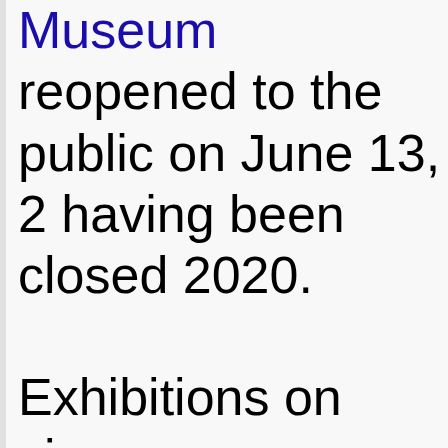Museum reopened to the public on June 13, 2021, having been closed since March 2020.
Exhibitions on view
Black Flyyy
On view through S